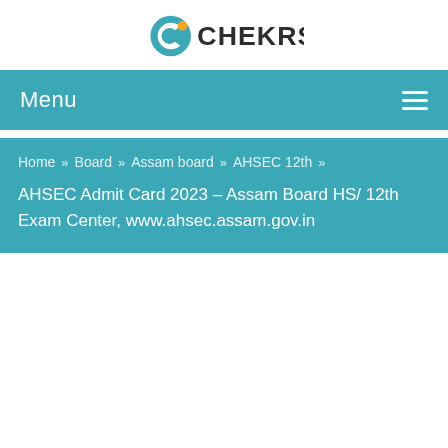[Figure (logo): CHEKRS logo with circular icon and text]
Menu ☰
Home » Board » Assam board » AHSEC 12th »
AHSEC Admit Card 2023 – Assam Board HS/ 12th Exam Center, www.ahsec.assam.gov.in